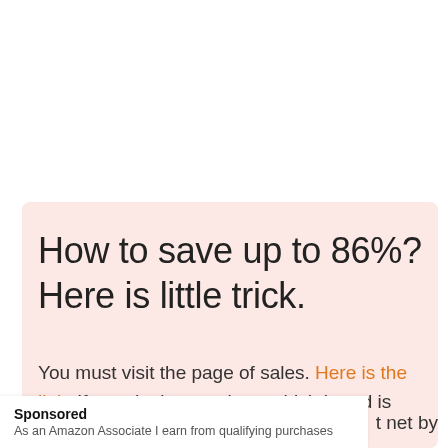How to save up to 86%? Here is little trick.
You must visit the page of sales. Here is the link. If you don't care about which brand is
Sponsored
As an Amazon Associate I earn from qualifying purchases